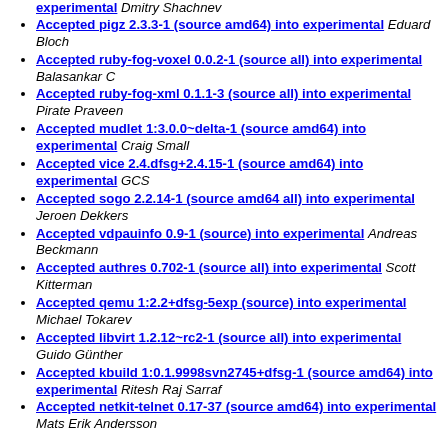experimental Dmitry Shachnev
Accepted pigz 2.3.3-1 (source amd64) into experimental Eduard Bloch
Accepted ruby-fog-voxel 0.0.2-1 (source all) into experimental Balasankar C
Accepted ruby-fog-xml 0.1.1-3 (source all) into experimental Pirate Praveen
Accepted mudlet 1:3.0.0~delta-1 (source amd64) into experimental Craig Small
Accepted vice 2.4.dfsg+2.4.15-1 (source amd64) into experimental GCS
Accepted sogo 2.2.14-1 (source amd64 all) into experimental Jeroen Dekkers
Accepted vdpauinfo 0.9-1 (source) into experimental Andreas Beckmann
Accepted authres 0.702-1 (source all) into experimental Scott Kitterman
Accepted qemu 1:2.2+dfsg-5exp (source) into experimental Michael Tokarev
Accepted libvirt 1.2.12~rc2-1 (source all) into experimental Guido Günther
Accepted kbuild 1:0.1.9998svn2745+dfsg-1 (source amd64) into experimental Ritesh Raj Sarraf
Accepted netkit-telnet 0.17-37 (source amd64) into experimental Mats Erik Andersson